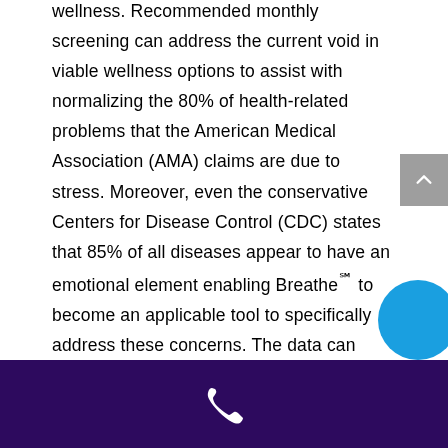wellness. Recommended monthly screening can address the current void in viable wellness options to assist with normalizing the 80% of health-related problems that the American Medical Association (AMA) claims are due to stress. Moreover, even the conservative Centers for Disease Control (CDC) states that 85% of all diseases appear to have an emotional element enabling Breathe℠ to become an applicable tool to specifically address these concerns. The data can begin to bridge the gap observed between health care & holistic professionals and provide releva…
[phone icon]